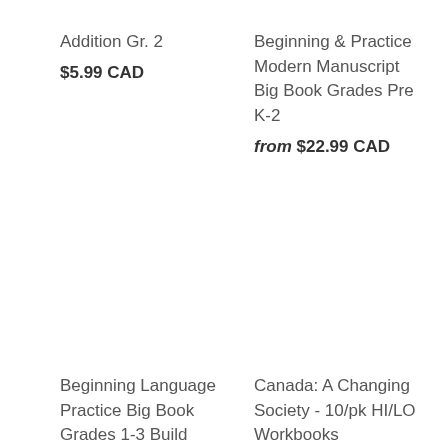Addition Gr. 2
$5.99 CAD
Beginning & Practice Modern Manuscript Big Book Grades Pre K-2
from $22.99 CAD
Beginning Language Practice Big Book Grades 1-3 Build
Canada: A Changing Society - 10/pk HI/LO Workbooks